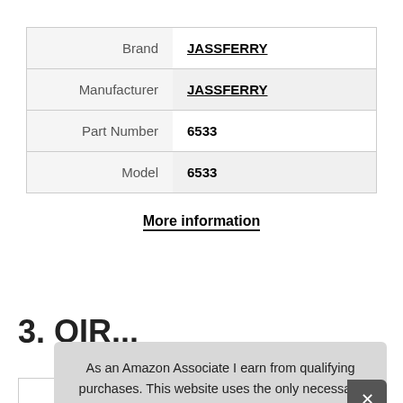|  |  |
| --- | --- |
| Brand | JASSFERRY |
| Manufacturer | JASSFERRY |
| Part Number | 6533 |
| Model | 6533 |
More information
3. OIR...
As an Amazon Associate I earn from qualifying purchases. This website uses the only necessary cookies to ensure you get the best experience on our website. More information